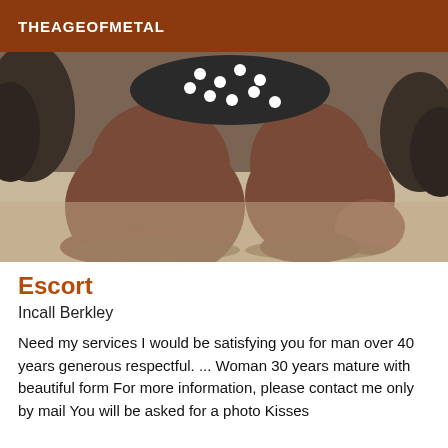THEAGEOFMETAL
[Figure (photo): A person kneeling on sand outdoors, torso partially visible wearing a black and white polka dot top, dark sandy background with foliage.]
Escort
Incall Berkley
Need my services I would be satisfying you for man over 40 years generous respectful. ... Woman 30 years mature with beautiful form For more information, please contact me only by mail You will be asked for a photo Kisses